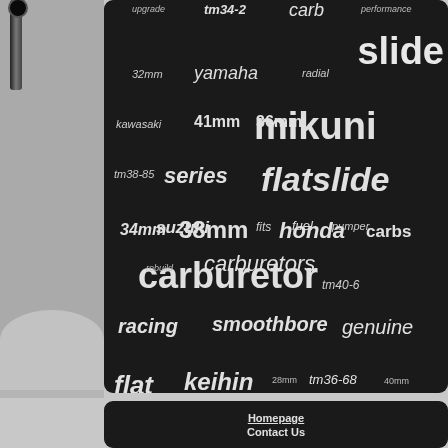[Figure (infographic): Tag cloud of motorcycle carburetor-related keywords on dark background, with words varying in size by frequency/importance. Keywords include: upgrade, tm34-2, carb, performance, 32mm, yamaha, radial, slide, kawasaki, 41mm, 36mm, mikuni, tm38-85, series, flatslide, suzuki, fits, fuel, pumper, carburetor, tm40-6, racing, smoothbore, genuine, flat, keihin, 28mm, tm36-68, 40mm, 34mm, 38mm, honda, carbs, rebuild, carburetors]
Homepage
Contact Us